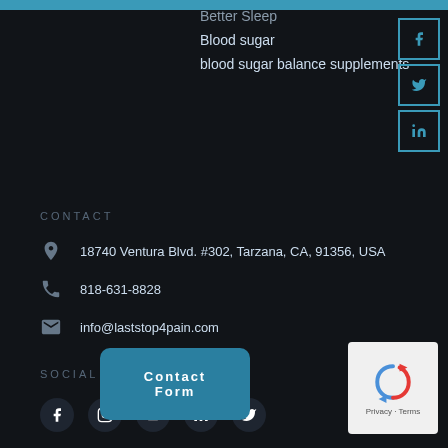Better Sleep
Blood sugar
blood sugar balance supplements
CONTACT
18740 Ventura Blvd. #302, Tarzana, CA, 91356, USA
818-631-8828
info@laststop4pain.com
SOCIAL
[Figure (other): Social media icons row: Facebook, Instagram, YouTube, LinkedIn, Twitter]
Contact Form
[Figure (other): reCAPTCHA widget with Privacy - Terms text]